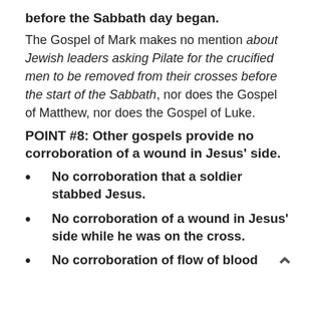before the Sabbath day began.
The Gospel of Mark makes no mention about Jewish leaders asking Pilate for the crucified men to be removed from their crosses before the start of the Sabbath, nor does the Gospel of Matthew, nor does the Gospel of Luke.
POINT #8: Other gospels provide no corroboration of a wound in Jesus’ side.
No corroboration that a soldier stabbed Jesus.
No corroboration of a wound in Jesus’ side while he was on the cross.
No corroboration of flow of blood